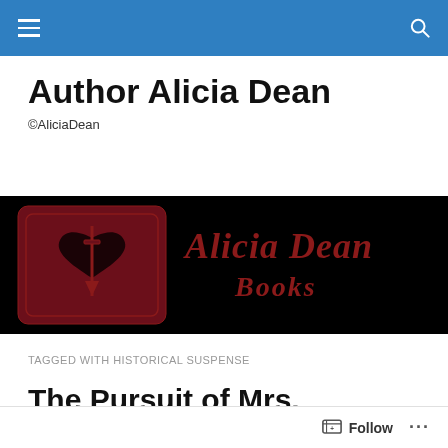Author Alicia Dean
©AliciaDean
[Figure (logo): Alicia Dean Books banner logo — dark red/maroon heart with dagger on black background, with the text 'Alicia Dean Books' in dark red italic serif font]
TAGGED WITH HISTORICAL SUSPENSE
The Pursuit of Mrs.
Pennyworthy by Callie...